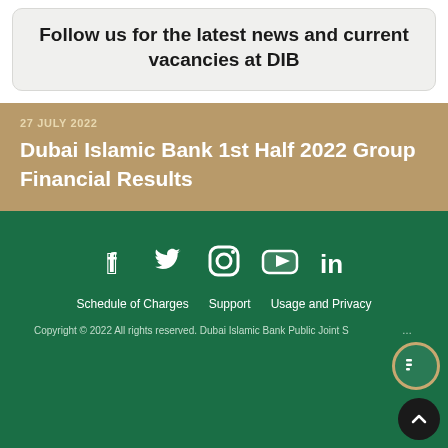Follow us for the latest news and current vacancies at DIB
27 JULY 2022
Dubai Islamic Bank 1st Half 2022 Group Financial Results
[Figure (infographic): Social media icons: Facebook, Twitter, Instagram, YouTube, LinkedIn on green background]
Schedule of Charges   Support   Usage and Privacy
Copyright © 2022 All rights reserved. Dubai Islamic Bank Public Joint Stock Company